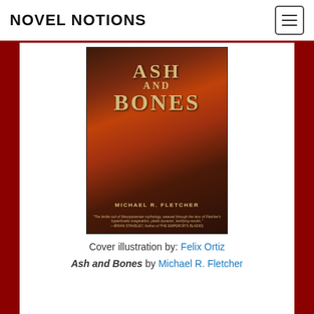NOVEL NOTIONS
[Figure (illustration): Book cover of 'Ash and Bones' by Michael R. Fletcher, showing a fantasy scene with a dragon-like winged creature in silhouette, a warrior figure in red cloak, and soldiers in the foreground against a dark city backdrop with a red sun. The title 'ASH AND BONES' appears in large golden letters. Cover illustration by Felix Ortiz.]
Cover illustration by: Felix Ortiz
Ash and Bones by Michael R. Fletcher